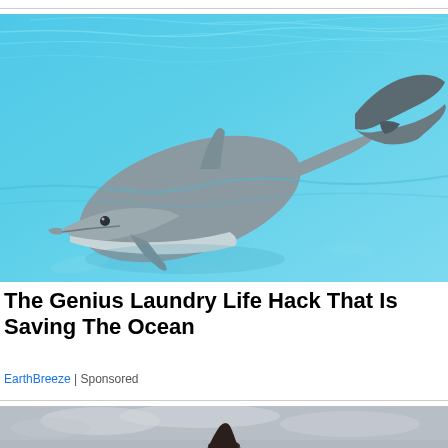[Figure (photo): A dolphin swimming in bright blue pool water, viewed from slightly above. The dolphin is grey with a visible fin and tail flukes raised out of the water.]
The Genius Laundry Life Hack That Is Saving The Ocean
EarthBreeze | Sponsored
[Figure (photo): A woman with dark hair standing outdoors against a grey cloudy sky background, partially cropped.]